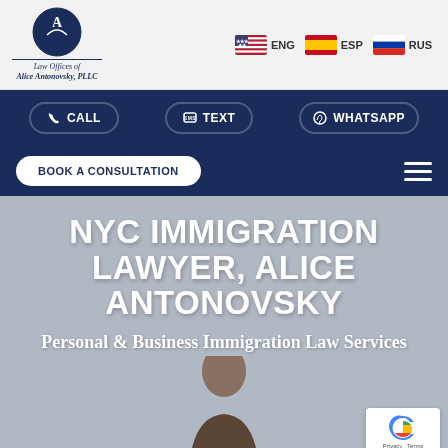[Figure (logo): Law Offices of Alice Antonovsky, PLLC logo with circular emblem]
ENG  ESP  RUS
CALL  TEXT  WHATSAPP
BOOK A CONSULTATION
NYC IMMIGRATION LAWYER, ALICE ANTONOVSKY
Personal & Business Immigration Law Services
[Figure (photo): Photo of attorney Alice Antonovsky, a woman with dark hair]